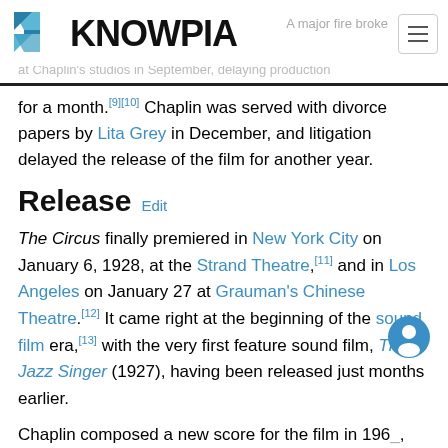KNOWPIA
for a month.[9][10] Chaplin was served with divorce papers by Lita Grey in December, and litigation delayed the release of the film for another year.
Release  Edit
The Circus finally premiered in New York City on January 6, 1928, at the Strand Theatre,[11] and in Los Angeles on January 27 at Grauman's Chinese Theatre.[12] It came right at the beginning of the sound film era,[13] with the very first feature sound film, The Jazz Singer (1927), having been released just months earlier.
Chaplin composed a new score for the film in 196_, and this new version of the film (see below) was